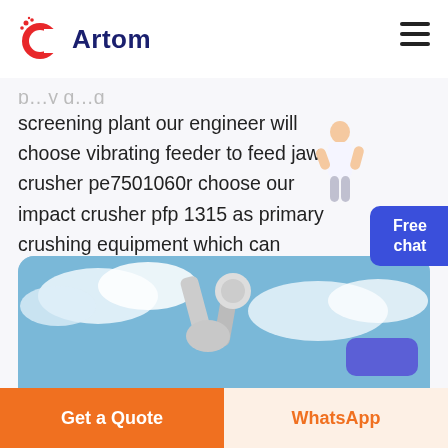[Figure (logo): Artom company logo with orange C letter icon and dark blue Artom text]
screening plant our engineer will choose vibrating feeder to feed jaw crusher pe7501060r choose our impact crusher pfp 1315 as primary crushing equipment which can replace the jaw crusher as primary crusher.
Read more ▶
[Figure (photo): Photo of industrial crusher or robotic arm machinery against a blue sky with clouds]
Get a Quote
WhatsApp